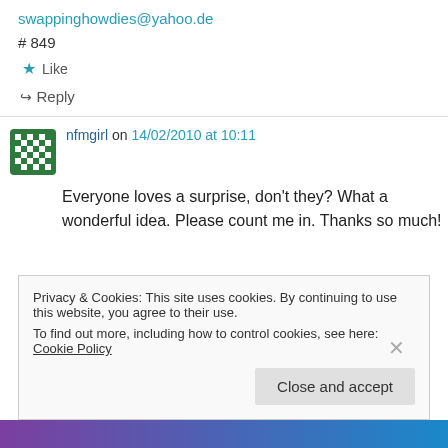swappinghowdies@yahoo.de
# 849
★ Like
↪ Reply
nfmgirl on 14/02/2010 at 10:11
Everyone loves a surprise, don't they? What a wonderful idea. Please count me in. Thanks so much!
Privacy & Cookies: This site uses cookies. By continuing to use this website, you agree to their use.
To find out more, including how to control cookies, see here: Cookie Policy
Close and accept